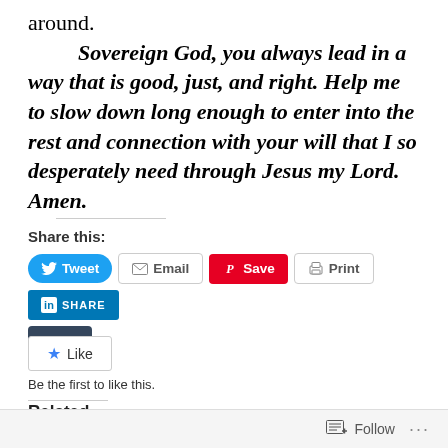around.
Sovereign God, you always lead in a way that is good, just, and right.  Help me to slow down long enough to enter into the rest and connection with your will that I so desperately need through Jesus my Lord.  Amen.
Share this:
[Figure (screenshot): Social sharing buttons: Tweet (Twitter/blue), Email (gray outline), Save (Pinterest/red), Print (gray outline), SHARE (LinkedIn/blue), Post (Tumblr/dark)]
[Figure (screenshot): Like button with star icon and text: Be the first to like this.]
Related
[Figure (screenshot): Bottom bar with Follow button and ellipsis menu]